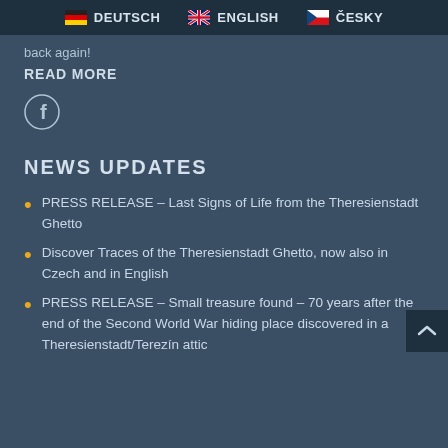DEUTSCH   ENGLISH   ČESKY
back again!
READ MORE
[Figure (illustration): Facebook icon circle with letter f]
NEWS UPDATES
PRESS RELEASE – Last Signs of Life from the Theresienstadt Ghetto
Discover Traces of the Theresienstadt Ghetto, now also in Czech and in English
PRESS RELEASE – Small treasure found – 70 years after the end of the Second World War hiding place discovered in a Theresienstadt/Terezín attic